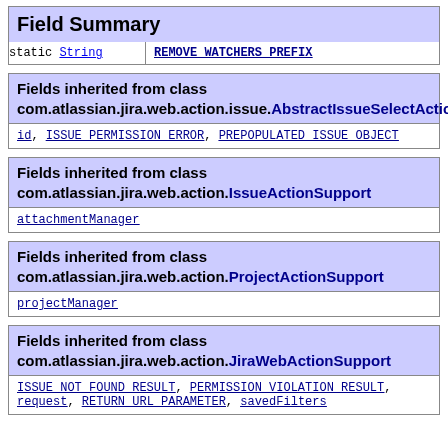| Field Summary |
| --- |
| static String | REMOVE_WATCHERS_PREFIX |
| Fields inherited from class com.atlassian.jira.web.action.issue.AbstractIssueSelectAction |
| --- |
| id, ISSUE_PERMISSION_ERROR, PREPOPULATED_ISSUE_OBJECT |
| Fields inherited from class com.atlassian.jira.web.action.IssueActionSupport |
| --- |
| attachmentManager |
| Fields inherited from class com.atlassian.jira.web.action.ProjectActionSupport |
| --- |
| projectManager |
| Fields inherited from class com.atlassian.jira.web.action.JiraWebActionSupport |
| --- |
| ISSUE_NOT_FOUND_RESULT, PERMISSION_VIOLATION_RESULT, request, RETURN_URL_PARAMETER, savedFilters |